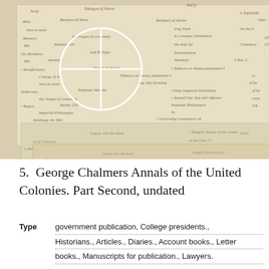[Figure (photo): Overlapping layers of aged, handwritten manuscript documents with cursive script on yellowed/sepia-toned paper. Three copies of similar documents are shown stacked with slight offsets, and a white cross/plus symbol is visible in upper left area of the topmost document.]
5.  George Chalmers Annals of the United Colonies. Part Second, undated
Type   government publication, College presidents., Historians., Articles., Diaries., Account books., Letter books., Manuscripts for publication., Lawyers.